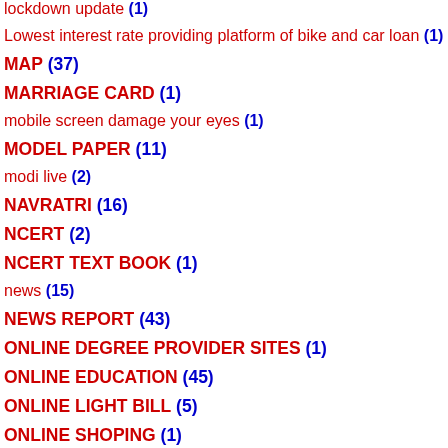lockdown update (1)
Lowest interest rate providing platform of bike and car loan (1)
MAP (37)
MARRIAGE CARD (1)
mobile screen damage your eyes (1)
MODEL PAPER (11)
modi live (2)
NAVRATRI (16)
NCERT (2)
NCERT TEXT BOOK (1)
news (15)
NEWS REPORT (43)
ONLINE DEGREE PROVIDER SITES (1)
ONLINE EDUCATION (45)
ONLINE LIGHT BILL (5)
ONLINE SHOPING (1)
online study guide (2)
paripatr (2)
People Were Stumped by a ‘Mysterious Spiral’ That Appeared in the